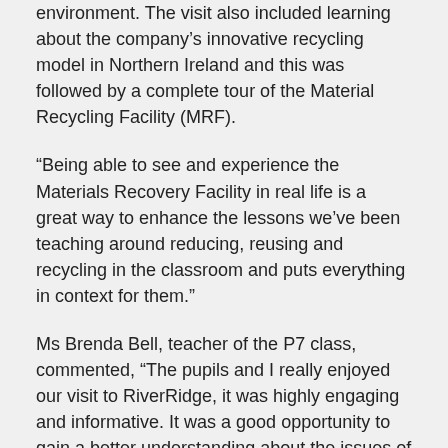environment. The visit also included learning about the company's innovative recycling model in Northern Ireland and this was followed by a complete tour of the Material Recycling Facility (MRF).
“Being able to see and experience the Materials Recovery Facility in real life is a great way to enhance the lessons we’ve been teaching around reducing, reusing and recycling in the classroom and puts everything in context for them.”
Ms Brenda Bell, teacher of the P7 class, commented, “The pupils and I really enjoyed our visit to RiverRidge, it was highly engaging and informative. It was a good opportunity to gain a better understanding about the issues of waste including the effects it has on our environment. Most importantly the pupils gained a real appreciation for their role and how they can make a difference in the simplest of ways